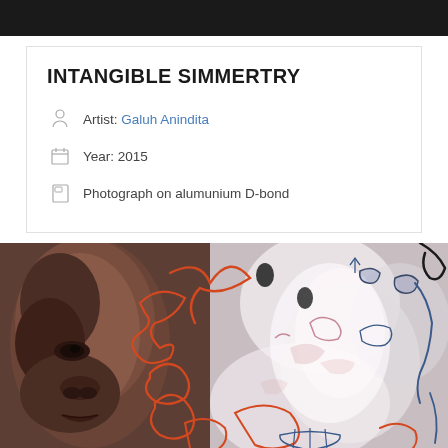INTANGIBLE SIMMERTRY
Artist: Galuh Anindita
Year: 2015
Photograph on alumunium D-bond
[Figure (photo): Artwork photograph showing a dark-skinned human face on the left half overlaid with abstract orange looping lines, and the right half showing a pale abstract surface with pink, blue, and black drawn shapes and scribbles on what appears to be crumpled or painted material.]